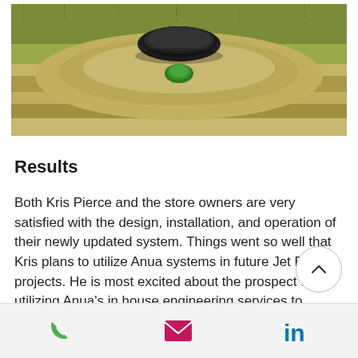[Figure (photo): Aerial or ground-level photo of a grassy area with a septic/wastewater system installation, showing a mound with black lid/cover and a green component in the center, surrounded by dry grass and soil.]
Results
Both Kris Pierce and the store owners are very satisfied with the design, installation, and operation of their newly updated system. Things went so well that Kris plans to utilize Anua systems in future Jet Pep projects. He is most excited about the prospect of utilizing Anua's in house engineering services to expedite his design and planning
Phone | Email | LinkedIn